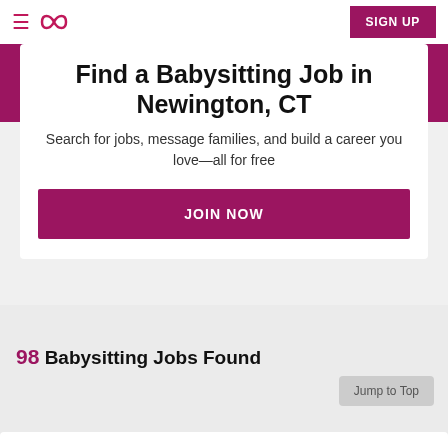☰ ∞ SIGN UP
Find a Babysitting Job in Newington, CT
Search for jobs, message families, and build a career you love—all for free
JOIN NOW
98 Babysitting Jobs Found
Jump to Top